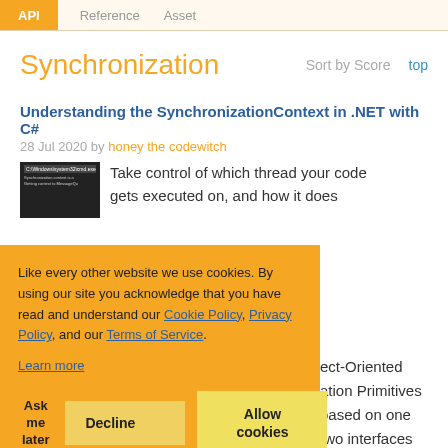Reference  Asset
Synchronization
Sort by Score   top
Understanding the SynchronizationContext in .NET with C#
28 Jul 2020 by honey the codewitch
Take control of which thread your code gets executed on, and how it does
Like every other website we use cookies. By using our site you acknowledge that you have read and understand our Cookie Policy, Privacy Policy, and our Terms of Service.
Learn more
Ask me later   Decline   Allow cookies
ect-Oriented
ation Primitives
based on one
two interfaces
d